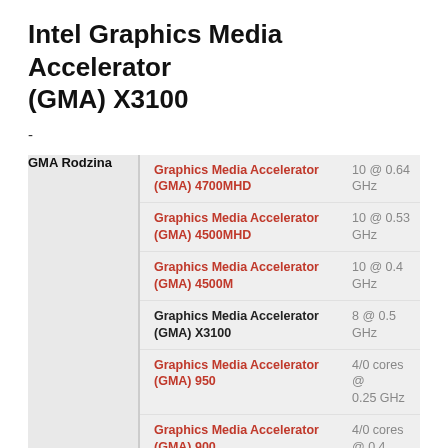Intel Graphics Media Accelerator (GMA) X3100
-
| GMA Rodzina | Name | Spec |
| --- | --- | --- |
| GMA Rodzina | Graphics Media Accelerator (GMA) 4700MHD | 10 @ 0.64 GHz |
|  | Graphics Media Accelerator (GMA) 4500MHD | 10 @ 0.53 GHz |
|  | Graphics Media Accelerator (GMA) 4500M | 10 @ 0.4 GHz |
|  | Graphics Media Accelerator (GMA) X3100 | 8 @ 0.5 GHz |
|  | Graphics Media Accelerator (GMA) 950 | 4/0 cores @ 0.25 GHz |
|  | Graphics Media Accelerator (GMA) 900 | 4/0 cores @ 0.4 GHz |
|  | Graphics Media Accelerator | 4 @ 0.4 GHz |